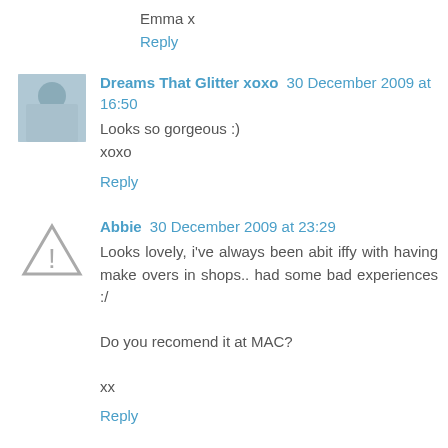Emma x
Reply
[Figure (photo): Avatar photo of Dreams That Glitter xoxo commenter, woman outdoors]
Dreams That Glitter xoxo  30 December 2009 at 16:50
Looks so gorgeous :)
xoxo
Reply
[Figure (illustration): Generic warning/placeholder avatar icon - triangle with exclamation mark]
Abbie  30 December 2009 at 23:29
Looks lovely, i've always been abit iffy with having make overs in shops.. had some bad experiences :/

Do you recomend it at MAC?

xx
Reply